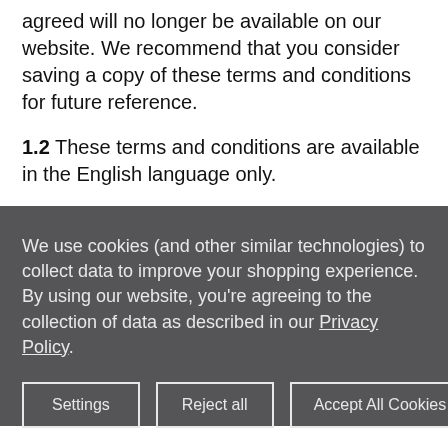agreed will no longer be available on our website. We recommend that you consider saving a copy of these terms and conditions for future reference.
1.2 These terms and conditions are available in the English language only.
We use cookies (and other similar technologies) to collect data to improve your shopping experience. By using our website, you're agreeing to the collection of data as described in our Privacy Policy.